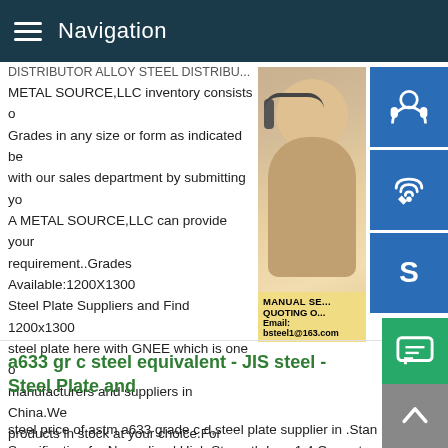Navigation
DISTRIBUTOR ALLOY STEEL DISTRIBUTOR METAL SOURCE,LLC inventory consists of Grades in any size or form as indicated be... with our sales department by submitting yo... A METAL SOURCE,LLC can provide your requirement..Grades Available:1200X1300 Steel Plate Suppliers and Find 1200x1300 steel plate here with GNEE which is one of manufacturers and suppliers in China.We products in stock at your choice.For chem consultation and free sample,welcome to c...
[Figure (photo): Woman with headset smiling, customer service representative photo with blue icon buttons for support, phone/Skype on the right side. Overlay text: MANUAL SE... QUOTING O... Email: bsteel1@163.com]
a633 gr c steel equivalent - JIS steel - Steel Plate and
steel price of astm a633 grade c d,steel plate supplier in .Standard Specification for Normalized High Strength Low 1.4 Current practice normally limits plates furnished under this specification...